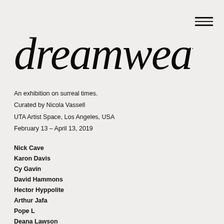dreamweavers
An exhibition on surreal times.
Curated by Nicola Vassell
UTA Artist Space, Los Angeles, USA
February 13 – April 13, 2019
Nick Cave
Karon Davis
Cy Gavin
David Hammons
Hector Hyppolite
Arthur Jafa
Pope L
Deana Lawson
Kerry James Marshall
Toyin Ojih Odutola
Noah Purifoy
Nathaniel Mary Quinn
Tschabalala Self
Ming Smith
Nari Ward